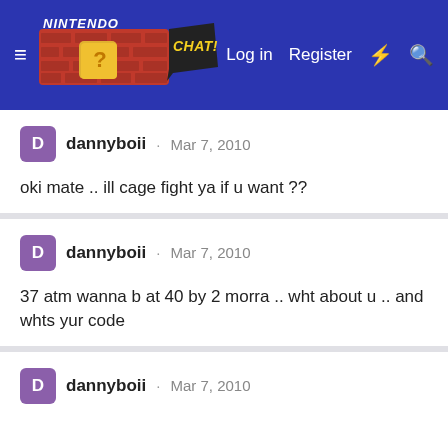Nintendo Chat — Log in  Register
dannyboii · Mar 7, 2010

oki mate .. ill cage fight ya if u want ??
dannyboii · Mar 7, 2010

37 atm wanna b at 40 by 2 morra .. wht about u .. and whts yur code
dannyboii · Mar 7, 2010